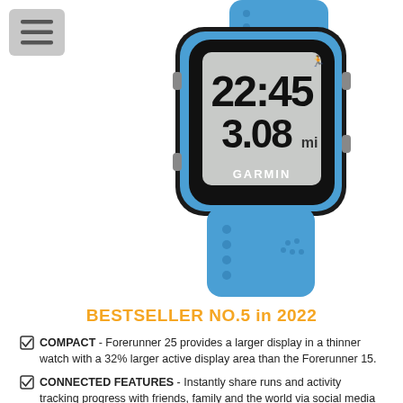[Figure (photo): Garmin Forerunner 25 GPS running watch in blue and black color, showing 22:45 time and 3.08 distance on display, with blue silicone strap]
BESTSELLER NO.5 in 2022
COMPACT - Forerunner 25 provides a larger display in a thinner watch with a 32% larger active display area than the Forerunner 15.
CONNECTED FEATURES - Instantly share runs and activity tracking progress with friends, family and the world via social media by pairing with phone with the Garmin Connect (TM) Mobile